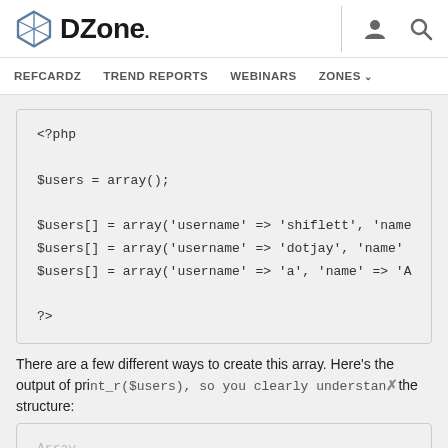DZone. — navigation: REFCARDZ, TREND REPORTS, WEBINARS, ZONES
<?php

$users = array();

$users[] = array('username' => 'shiflett', 'name
$users[] = array('username' => 'dotjay', 'name'
$users[] = array('username' => 'a', 'name' => 'A

?>
There are a few different ways to create this array. Here's the output of print_r($users), so you clearly understand the structure:
Array
(
[0] => Array
(